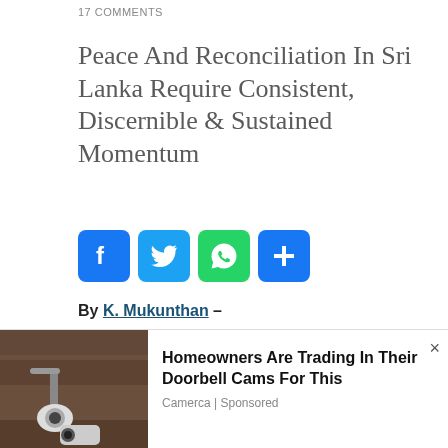17 COMMENTS
Peace And Reconciliation In Sri Lanka Require Consistent, Discernible & Sustained Momentum
[Figure (other): Social media share buttons: Facebook (blue), Twitter (blue), WhatsApp (green), Share (blue)]
By K. Mukunthan –
Sri Lanka's moment of truth is fast approaching. The expectation is
[Figure (photo): Headshot photo of author K. Mukunthan]
[Figure (infographic): Advertisement overlay: Homeowners Are Trading In Their Doorbell Cams For This. Camerca | Sponsored. Shows a security camera image on the left.]